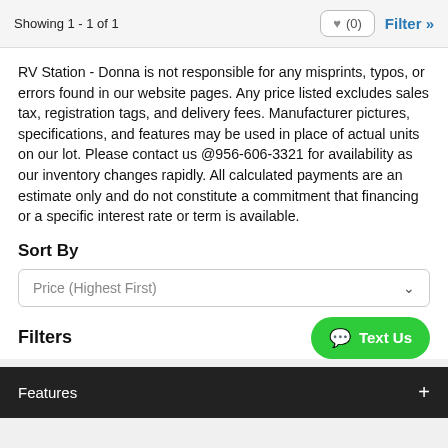Showing 1 - 1 of 1
RV Station - Donna is not responsible for any misprints, typos, or errors found in our website pages. Any price listed excludes sales tax, registration tags, and delivery fees. Manufacturer pictures, specifications, and features may be used in place of actual units on our lot. Please contact us @956-606-3321 for availability as our inventory changes rapidly. All calculated payments are an estimate only and do not constitute a commitment that financing or a specific interest rate or term is available.
Sort By
Price (Highest First)
Filters
Features